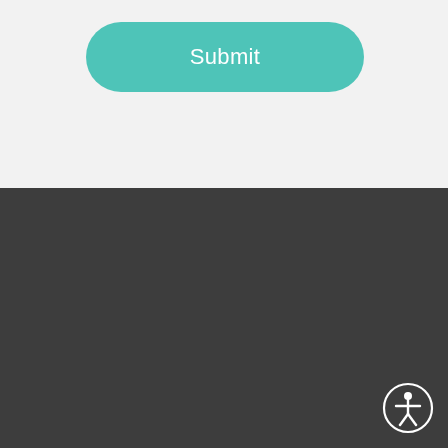[Figure (screenshot): A teal/turquoise rounded submit button on a light gray background]
[Figure (illustration): Accessibility icon (person in circle) in white on dark gray footer background]